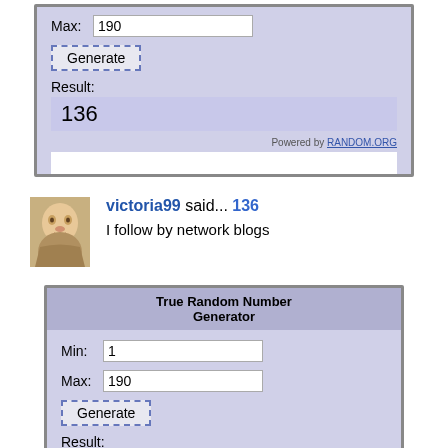[Figure (screenshot): Partial True Random Number Generator widget showing Max: 190, Generate button, Result: 136 in purple highlight, powered by RANDOM.ORG]
victoria99 said... 136
I follow by network blogs
[Figure (screenshot): True Random Number Generator widget showing Min: 1, Max: 190, Generate button, Result: (partially visible 170s number)]